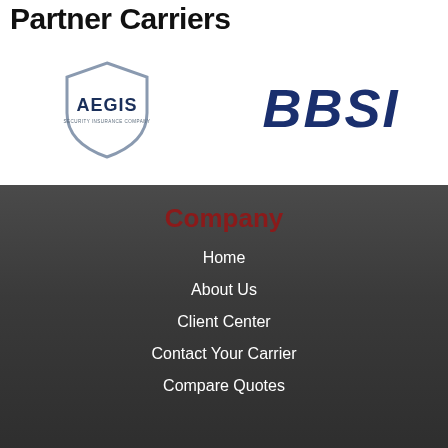Partner Carriers
[Figure (logo): AEGIS Security Insurance Company logo — shield outline with AEGIS text inside]
[Figure (logo): BBSI logo — bold blue italic letters BBSI]
Company
Home
About Us
Client Center
Contact Your Carrier
Compare Quotes